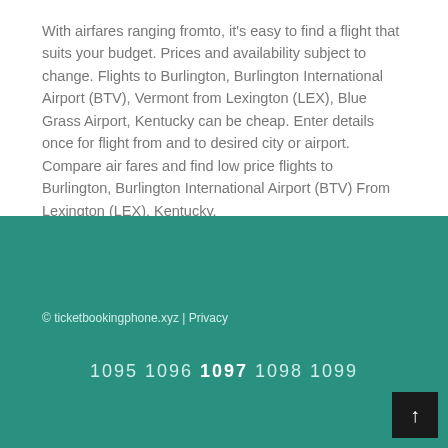With airfares ranging fromto, it's easy to find a flight that suits your budget. Prices and availability subject to change. Flights to Burlington, Burlington International Airport (BTV), Vermont from Lexington (LEX), Blue Grass Airport, Kentucky can be cheap. Enter details once for flight from and to desired city or airport. Compare air fares and find low price flights to Burlington, Burlington International Airport (BTV) From Lexington (LEX), Kentucky.
© ticketbookingphone.xyz | Privacy
1095 1096 1097 1098 1099